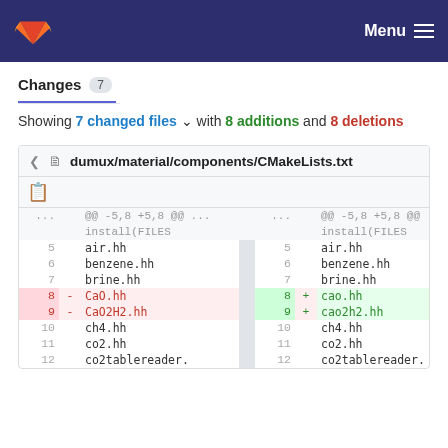GitLab navigation bar with Menu
Changes 7
Showing 7 changed files with 8 additions and 8 deletions
| old-ln | sign | old-code | new-ln | sign | new-code |
| --- | --- | --- | --- | --- | --- |
| ... |  | @@ -5,8 +5,8 @@ ... | ... |  | @@ -5,8 +5,8 @@ |
|  |  | install(FILES |  |  | install(FILES |
| 5 |  | air.hh | 5 |  | air.hh |
| 6 |  | benzene.hh | 6 |  | benzene.hh |
| 7 |  | brine.hh | 7 |  | brine.hh |
| 8 | - | CaO.hh | 8 | + | cao.hh |
| 9 | - | CaO2H2.hh | 9 | + | cao2h2.hh |
| 10 |  | ch4.hh | 10 |  | ch4.hh |
| 11 |  | co2.hh | 11 |  | co2.hh |
| 12 |  | co2tablereader. | 12 |  | co2tablereader. |